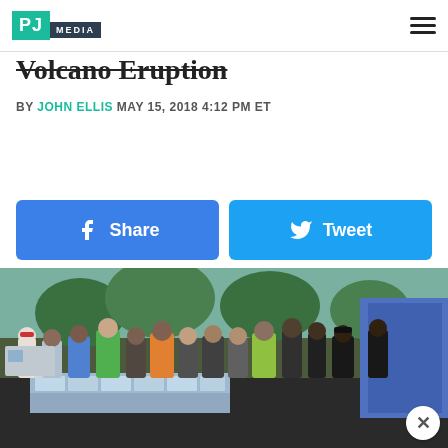PJ MEDIA
Volcano Eruption
BY JOHN ELLIS MAY 15, 2018 4:12 PM ET
[Figure (infographic): Facebook Share button and Twitter Tweet button side by side]
[Figure (photo): Group of people standing in a row outdoors, with cases of water bottles stacked in the foreground, palm trees and vehicles in the background. Related to Hawaii volcano eruption relief efforts.]